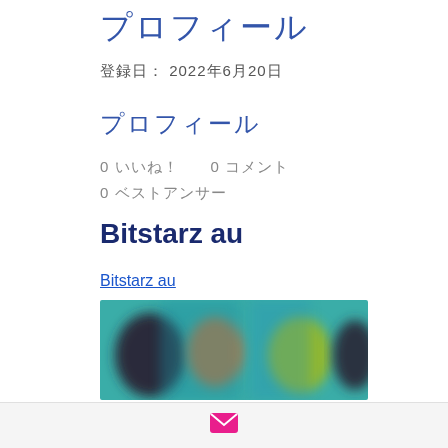プロフィール
登録日： 2022年6月20日
プロフィール
0 いいね！　0 コメント
0 ベストアンサー
Bitstarz au
Bitstarz au
[Figure (photo): Blurred banner image with colorful characters on teal/green background]
[Figure (other): Email icon in pink/magenta on light grey bar at bottom]